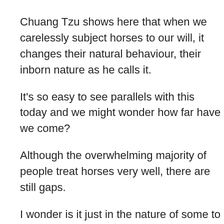Chuang Tzu shows here that when we carelessly subject horses to our will, it changes their natural behaviour, their inborn nature as he calls it.
It's so easy to see parallels with this today and we might wonder how far have we come?
Although the overwhelming majority of people treat horses very well, there are still gaps.
I wonder is it just in the nature of some to not regard animals as highly as others, were they born like that? Is it to do with geographical location? Or is it because their way of treating them has poplar appeal in their circle? Or is a lot of it genuine lack of